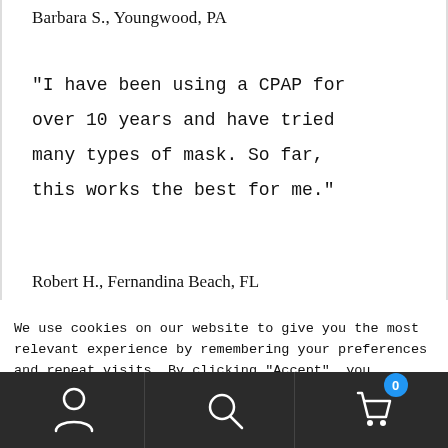Barbara S., Youngwood, PA
“I have been using a CPAP for over 10 years and have tried many types of mask. So far, this works the best for me.”
Robert H., Fernandina Beach, FL
We use cookies on our website to give you the most relevant experience by remembering your preferences and repeat visits. By clicking “Accept”, you consent to the use of ALL the cookies.
Do not sell my personal information.
[Figure (other): Bottom navigation bar with account icon, search icon, and shopping cart icon with badge showing 0]